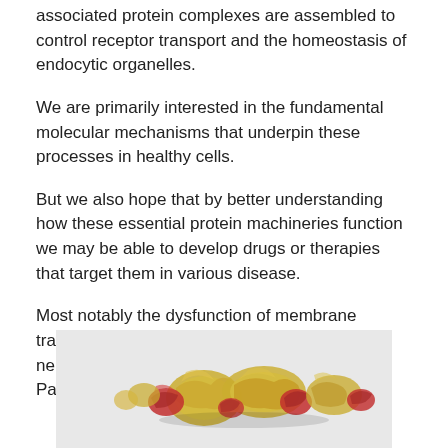associated protein complexes are assembled to control receptor transport and the homeostasis of endocytic organelles.
We are primarily interested in the fundamental molecular mechanisms that underpin these processes in healthy cells.
But we also hope that by better understanding how these essential protein machineries function we may be able to develop drugs or therapies that target them in various disease.
Most notably the dysfunction of membrane trafficking is a common hallmark of neurodegenerative disorders including Parkinson's and Alzheimer's Diseases.
[Figure (photo): Molecular structure visualization showing a ring-like protein complex with yellow and red subunits on a light gray background.]